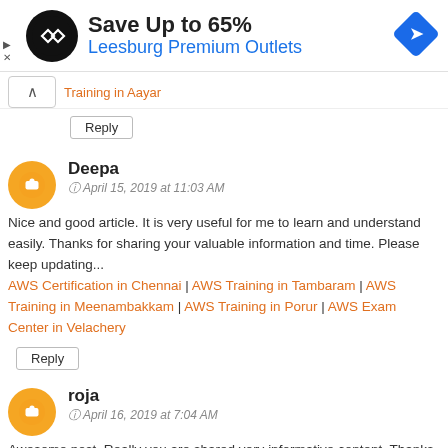[Figure (infographic): Advertisement banner: Save Up to 65% Leesburg Premium Outlets with logo and navigation icon]
Training in Aayar
Reply
Deepa
April 15, 2019 at 11:03 AM
Nice and good article. It is very useful for me to learn and understand easily. Thanks for sharing your valuable information and time. Please keep updating... AWS Certification in Chennai | AWS Training in Tambaram | AWS Training in Meenambakkam | AWS Training in Porur | AWS Exam Center in Velachery
Reply
roja
April 16, 2019 at 7:04 AM
Awesome post. Really you are shared very informative content. Thanks for sharing if you more details...